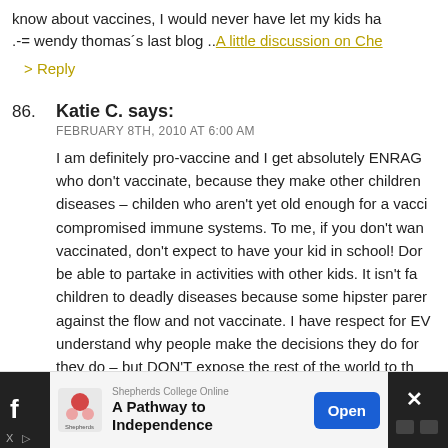know about vaccines, I would never have let my kids ha .-= wendy thomas´s last blog .. A little discussion on Che
> Reply
86. Katie C. says: FEBRUARY 8TH, 2010 AT 6:00 AM
I am definitely pro-vaccine and I get absolutely ENRAG who don't vaccinate, because they make other children diseases – childen who aren't yet old enough for a vacci compromised immune systems. To me, if you don't wan vaccinated, don't expect to have your kid in school! Dor be able to partake in activities with other kids. It isn't fa children to deadly diseases because some hipster paren against the flow and not vaccinate. I have respect for EV understand why people make the decisions they do for they do – but DON'T expose the rest of the world to th out there!
Great job, Heather, on the Momversation! And yay for
[Figure (screenshot): Advertisement banner for Shepherds College Online - A Pathway to Independence with Open button]